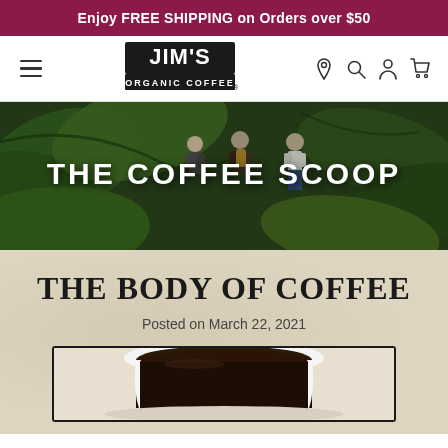Enjoy FREE SHIPPING on Orders over $50
[Figure (logo): Jim's Organic Coffee logo with navigation hamburger menu and icons for location, search, account, and cart]
[Figure (photo): Hero image showing people walking through a lush green coffee farm/jungle with overlay text THE COFFEE SCOOP]
THE BODY OF COFFEE
Posted on March 22, 2021
[Figure (photo): Close-up photo of a cup of black coffee with white cup and saucer, partially cropped]